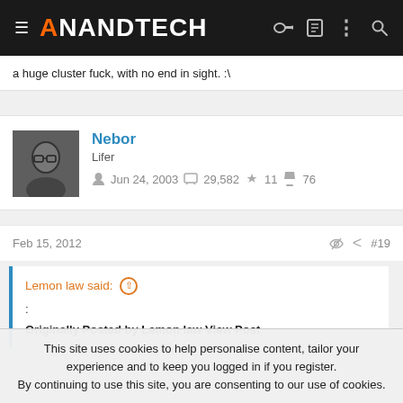AnandTech
a huge cluster fuck, with no end in sight. :\
Nebor
Lifer
Jun 24, 2003   29,582   11   76
Feb 15, 2012   #19
Lemon law said:
:
Originally Posted by Lemon law View Post
This site uses cookies to help personalise content, tailor your experience and to keep you logged in if you register.
By continuing to use this site, you are consenting to our use of cookies.